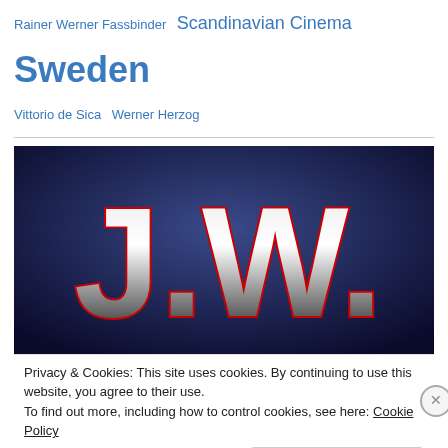Rainer Werner Fassbinder  Scandinavian Cinema  Sweden  Vittorio de Sica  Werner Herzog
[Figure (logo): J.W. logo text in metallic silver and red letters on dark blue gradient background]
Privacy & Cookies: This site uses cookies. By continuing to use this website, you agree to their use.
To find out more, including how to control cookies, see here: Cookie Policy
Close and accept